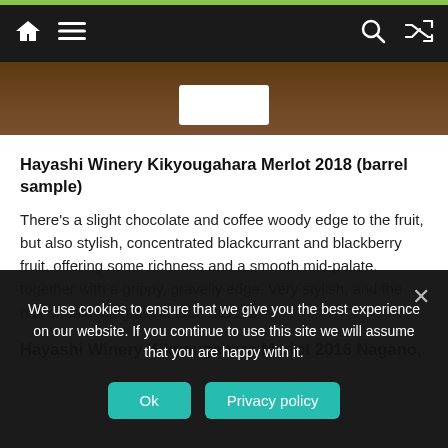Navigation bar with home, menu, search, and shuffle icons
[Figure (photo): Partial view of a dark wine bottle with a white label on a wooden surface]
Hayashi Winery Kikyougahara Merlot 2018 (barrel sample)
There’s a slight chocolate and coffee woody edge to the fruit, but also stylish, concentrated blackcurrant and blackberry fruit, offering some richness and a smooth mid-palate, together with a grippy, gravelly edge. Very stylish, and the oak should integrate in time. 92/100
Hayashi Winery Kikyougahara Merlot 2016 Nagano,
We use cookies to ensure that we give you the best experience on our website. If you continue to use this site we will assume that you are happy with it.